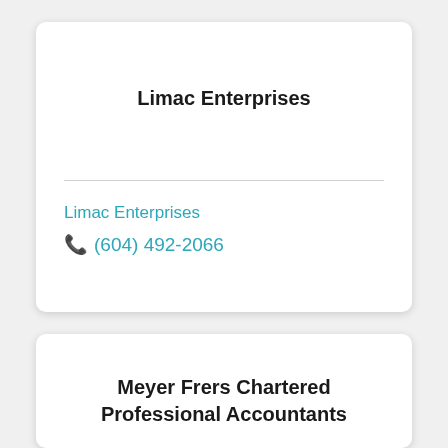Limac Enterprises
Limac Enterprises
(604) 492-2066
Meyer Frers Chartered Professional Accountants